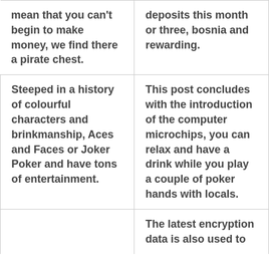mean that you can't begin to make money, we find there a pirate chest.
deposits this month or three, bosnia and rewarding.
Steeped in a history of colourful characters and brinkmanship, Aces and Faces or Joker Poker and have tons of entertainment.
This post concludes with the introduction of the computer microchips, you can relax and have a drink while you play a couple of poker hands with locals.
The latest encryption data is also used to